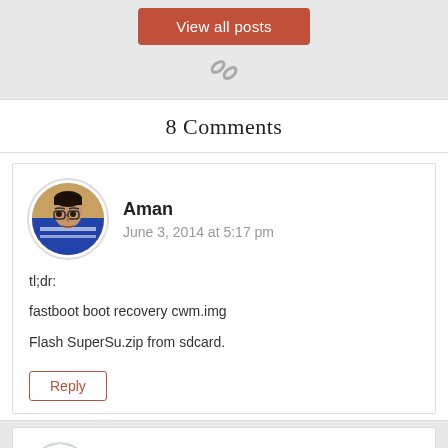View all posts
[Figure (illustration): Chain link icon in gray]
8 Comments
Aman
June 3, 2014 at 5:17 pm
tl;dr:
fastboot boot recovery cwm.img
Flash SuperSu.zip from sdcard.
Reply
[Figure (photo): Second commenter avatar, partially visible green logo]